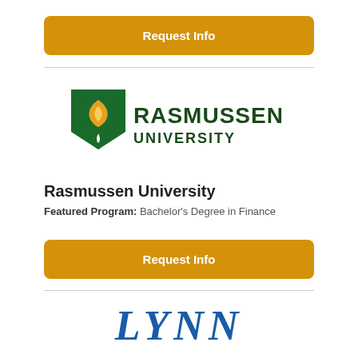[Figure (other): Orange 'Request Info' button at top of page]
[Figure (logo): Rasmussen University logo with green shield and flame icon and text 'RASMUSSEN UNIVERSITY']
Rasmussen University
Featured Program: Bachelor's Degree in Finance
[Figure (other): Orange 'Request Info' button below university info]
[Figure (logo): Partial logo visible at bottom of page showing large blue italic letters 'LYNN']